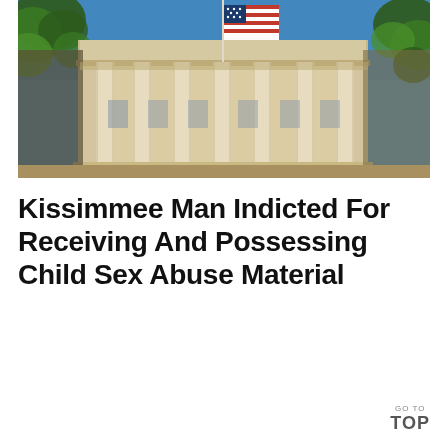[Figure (photo): Photograph of a neoclassical government building with tall columns and an American flag on a flagpole against a blue sky, with trees visible on left and right sides.]
Kissimmee Man Indicted For Receiving And Possessing Child Sex Abuse Material